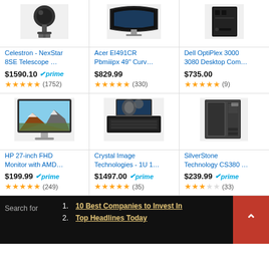[Figure (photo): Celestron NexStar 8SE Telescope product image (partially cropped at top)]
Celestron - NexStar 8SE Telescope …
$1590.10 prime
★★★★½ (1752)
[Figure (photo): Acer EI491CR curved monitor product image (partially cropped at top)]
Acer EI491CR Pbmiiipx 49" Curv…
$829.99
★★★★½ (330)
[Figure (photo): Dell OptiPlex 3000 3080 Desktop Computer product image (partially cropped at top)]
Dell OptiPlex 3000 3080 Desktop Com…
$735.00
★★★★½ (9)
[Figure (photo): HP 27-inch FHD Monitor with AMD product image]
HP 27-inch FHD Monitor with AMD…
$199.99 prime
★★★★½ (249)
[Figure (photo): Crystal Image Technologies 1U rack-mount KVM product image]
Crystal Image Technologies - 1U 1…
$1497.00 prime
★★★★½ (35)
[Figure (photo): SilverStone Technology CS380 PC case product image]
SilverStone Technology CS380 …
$239.99 prime
★★★☆☆ (33)
Search for
1. 10 Best Companies to Invest In
2. Top Headlines Today